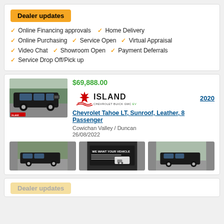Dealer updates
✓ Online Financing approvals  ✓ Home Delivery
✓ Online Purchasing  ✓ Service Open  ✓ Virtual Appraisal
✓ Video Chat  ✓ Showroom Open  ✓ Payment Deferrals
✓ Service Drop Off/Pick up
$69,888.00
[Figure (logo): Island Chevrolet Buick GMC EV dealer logo with red maple leaf]
2020
Chevrolet Tahoe LT, Sunroof, Leather, 8 Passenger
Cowichan Valley / Duncan
26/08/2022
[Figure (photo): Black Chevrolet Tahoe SUV front view]
[Figure (photo): Black Chevrolet Tahoe SUV side view]
[Figure (photo): We Want Your Vehicle promotional sign]
[Figure (photo): Black Chevrolet Tahoe SUV rear view]
Dealer updates